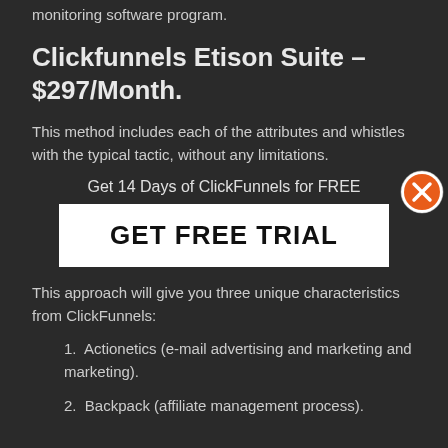monitoring software program.
Clickfunnels Etison Suite – $297/Month.
This method includes each of the attributes and whistles with the typical tactic, without any limitations.
[Figure (infographic): Popup overlay with text 'Get 14 Days of ClickFunnels for FREE' and a white button labeled 'GET FREE TRIAL', with an orange X close button in the top right.]
This approach will give you three unique characteristics from ClickFunnels:
Actionetics (e-mail advertising and marketing and marketing).
Backpack (affiliate management process).